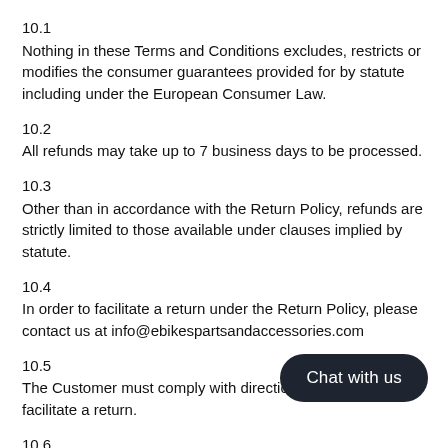10.1
Nothing in these Terms and Conditions excludes, restricts or modifies the consumer guarantees provided for by statute including under the European Consumer Law.
10.2
All refunds may take up to 7 business days to be processed.
10.3
Other than in accordance with the Return Policy, refunds are strictly limited to those available under clauses implied by statute.
10.4
In order to facilitate a return under the Return Policy, please contact us at info@ebikespartsandaccessories.com
10.5
The Customer must comply with directions from staff to facilitate a return.
10.6
Returned Products under the Returns Policy must be returned in their original packaging with all accessories and must be in a re-saleable condition. For the avoidance of doubt, nothing in this